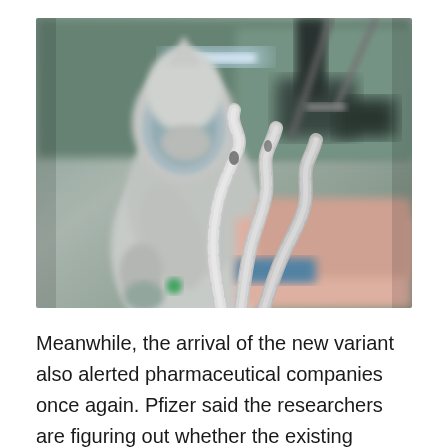[Figure (photo): A healthcare worker in full white PPE suit, face shield, and mask attending to a patient. Corrugated medical ventilator tubes are visible in the foreground. The scene appears to be in an ICU or isolation ward.]
Meanwhile, the arrival of the new variant also alerted pharmaceutical companies once again. Pfizer said the researchers are figuring out whether the existing vaccine can be used against the new strain.